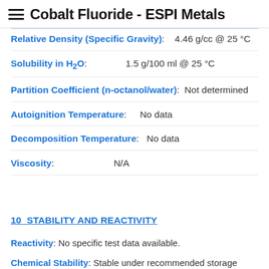Cobalt Fluoride - ESPI Metals
Relative Density (Specific Gravity): 4.46 g/cc @ 25 °C
Solubility in H2O: 1.5 g/100 ml @ 25 °C
Partition Coefficient (n-octanol/water): Not determined
Autoignition Temperature: No data
Decomposition Temperature: No data
Viscosity: N/A
10  STABILITY AND REACTIVITY
Reactivity: No specific test data available.
Chemical Stability: Stable under recommended storage conditions.